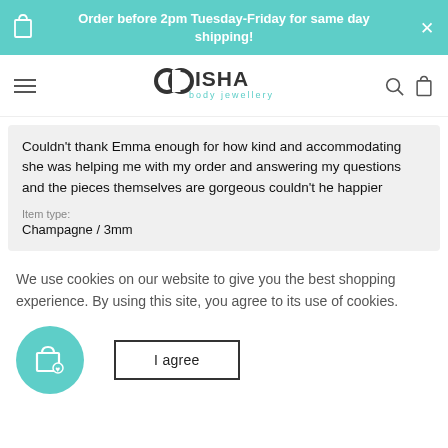Order before 2pm Tuesday-Friday for same day shipping!
[Figure (logo): ISHA body jewellery logo with navigation icons]
Couldn't thank Emma enough for how kind and accommodating she was helping me with my order and answering my questions and the pieces themselves are gorgeous couldn't he happier
Item type: Champagne / 3mm
We use cookies on our website to give you the best shopping experience. By using this site, you agree to its use of cookies.
I agree